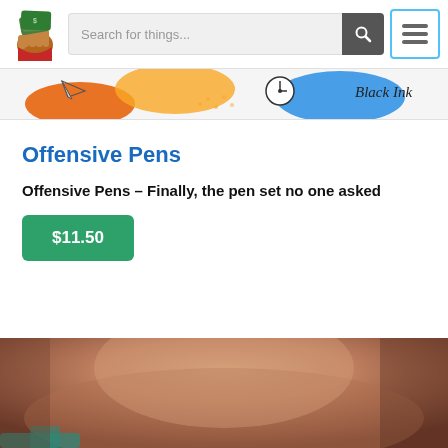[Figure (logo): Hand holding cash/money logo]
[Figure (screenshot): Search bar with text 'Search for things...' and search button and hamburger menu button]
[Figure (illustration): Colorful banner with art supplies (pens, paper airplane, clock) and 'Black Ink' text]
Offensive Pens
Offensive Pens – Finally, the pen set no one asked
$11.50
[Figure (photo): Close-up photo of a person's neck and shoulder area, partially cropped]